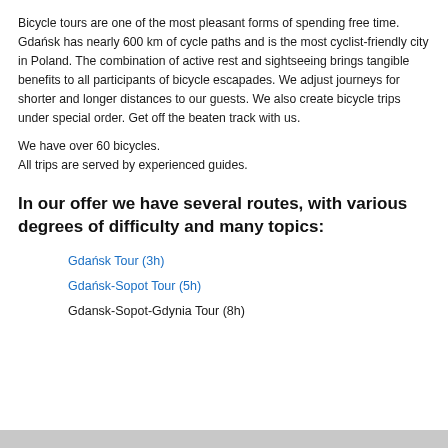Bicycle tours are one of the most pleasant forms of spending free time. Gdańsk has nearly 600 km of cycle paths and is the most cyclist-friendly city in Poland. The combination of active rest and sightseeing brings tangible benefits to all participants of bicycle escapades. We adjust journeys for shorter and longer distances to our guests. We also create bicycle trips under special order. Get off the beaten track with us.
We have over 60 bicycles.
All trips are served by experienced guides.
In our offer we have several routes, with various degrees of difficulty and many topics:
Gdańsk Tour (3h)
Gdańsk-Sopot Tour (5h)
Gdansk-Sopot-Gdynia Tour (8h)